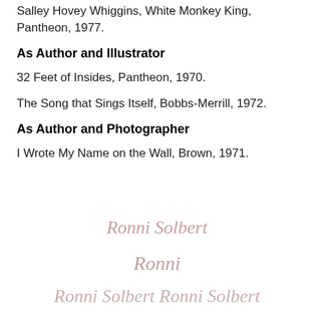Salley Hovey Whiggins, White Monkey King, Pantheon, 1977.
As Author and Illustrator
32 Feet of Insides, Pantheon, 1970.
The Song that Sings Itself, Bobbs-Merrill, 1972.
As Author and Photographer
I Wrote My Name on the Wall, Brown, 1971.
Ronni Solbert
Ronni
Ronni Solbert Ronni Solbert